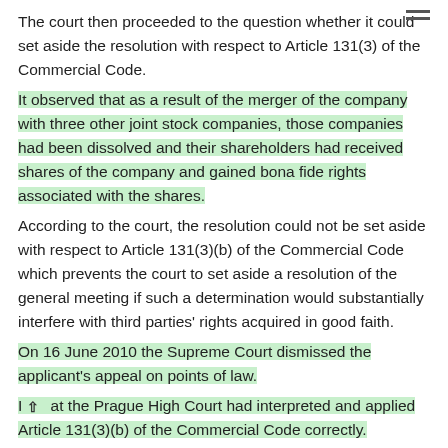The court then proceeded to the question whether it could set aside the resolution with respect to Article 131(3) of the Commercial Code.
It observed that as a result of the merger of the company with three other joint stock companies, those companies had been dissolved and their shareholders had received shares of the company and gained bona fide rights associated with the shares.
According to the court, the resolution could not be set aside with respect to Article 131(3)(b) of the Commercial Code which prevents the court to set aside a resolution of the general meeting if such a determination would substantially interfere with third parties' rights acquired in good faith.
On 16 June 2010 the Supreme Court dismissed the applicant's appeal on points of law.
It [arrow up] at the Prague High Court had interpreted and applied Article 131(3)(b) of the Commercial Code correctly.